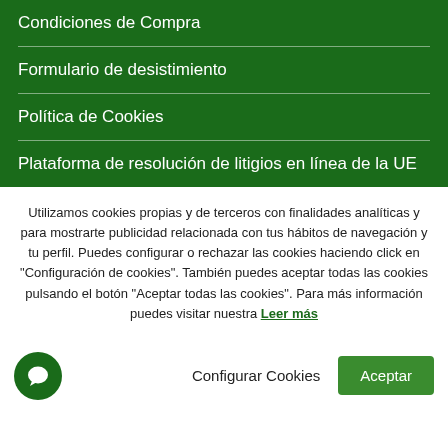Condiciones de Compra
Formulario de desistimiento
Política de Cookies
Plataforma de resolución de litigios en línea de la UE
Utilizamos cookies propias y de terceros con finalidades analíticas y para mostrarte publicidad relacionada con tus hábitos de navegación y tu perfil. Puedes configurar o rechazar las cookies haciendo click en "Configuración de cookies". También puedes aceptar todas las cookies pulsando el botón "Aceptar todas las cookies". Para más información puedes visitar nuestra Leer más
Configurar Cookies  Aceptar